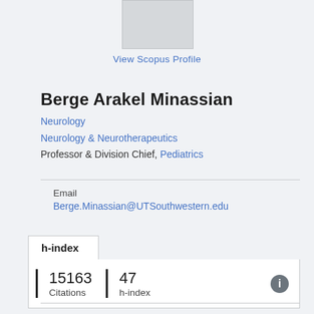[Figure (photo): Profile photo placeholder, light gray rectangle]
View Scopus Profile
Berge Arakel Minassian
Neurology
Neurology & Neurotherapeutics
Professor & Division Chief, Pediatrics
Email
Berge.Minassian@UTSouthwestern.edu
h-index
15163 Citations  47 h-index